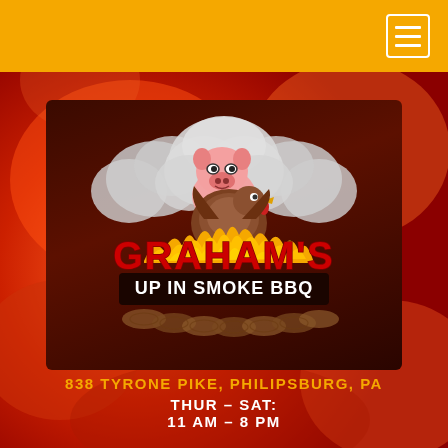[Figure (logo): Graham's Up In Smoke BBQ logo with cartoon pig and turkey characters emerging from smoke clouds, with flames and log pile, red bold text GRAHAM'S and white text UP IN SMOKE BBQ on dark banner]
838 TYRONE PIKE, PHILIPSBURG, PA
THUR – SAT:
11 AM – 8 PM